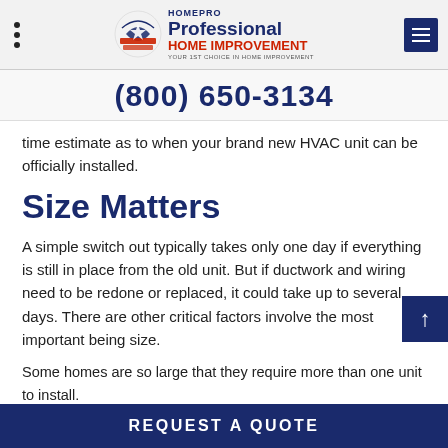HOMEPro Professional Home Improvement — (800) 650-3134
time estimate as to when your brand new HVAC unit can be officially installed.
Size Matters
A simple switch out typically takes only one day if everything is still in place from the old unit. But if ductwork and wiring need to be redone or replaced, it could take up to several days. There are other critical factors involved, the most important being size.
Some homes are so large that they require more than one unit to install. Homes with multiple rooms or homes that have more than one story will re...
REQUEST A QUOTE